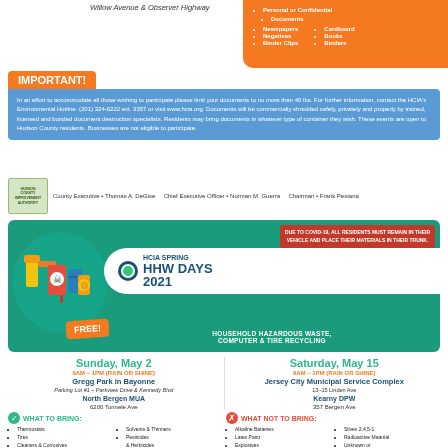Willow Avenue & Observer Highway
Personal or Confidential Documents • Newspapers • Cardboard • Negatives • Books • Binder Clips • Binders
IMPORTANT!
In an effort to accommodate all those wishing to participate please limit your documents to no more than 40 lbs. For further information, contact the HCIA's Environmental Hotline: (201) 324-6222 ext. 3357 or visit www.hcia.org. Documents will be commercially shredded safely, privately and properly by trained, licensed and bonded document destruction specialists. Residents may bring documents in whatever type of container they wish. These events are open to Hudson County residents. Businesses are not eligible to participate.
County Executive • Thomas A. DeGise   Chief Executive Officer • Norman M. Guerra   Chairman • Frank Pestana
[Figure (infographic): HCIA Spring HHW Days 2021 banner with hazardous waste icons, teal background, COVID-19 notice in red, FREE badge in orange]
DUE TO COVID-19, ALL RESIDENTS MUST REMAIN IN THEIR VEHICLE AND PLACE THEIR MATERIALS IN THEIR TRUNK.
HCIA SPRING HHW DAYS 2021 - HOUSEHOLD HAZARDOUS WASTE, COMPUTER & TIRE RECYCLING
Sunday, May 2
9AM – 1PM (RAIN OR SHINE)
Gregg Park in Bayonne
Parking Lot #1 – Parkview Drive & Kennedy Blvd
North Bergen MUA
6200 Tonnele Ave
Saturday, May 15
9AM – 1PM (RAIN OR SHINE)
Jersey City Municipal Service Complex
13–15 Linden Ave
Kearny DPW
357 Bergen Ave
WHAT TO BRING:
Thermostats
Tires
Cleaners & Corrosives
Pool & Photographic Chemicals
Solvents & Thinners
Pesticides & Herbicides
Formaldehyde
Compact
WHAT NOT TO BRING:
Alkaline Batteries
Latex Paint
Explosives
Compressed Gas Cylinders & Tanks
Silvex 2,4,5-1
Radioactive Material
Unknown or Unidentified Material
Ballasts